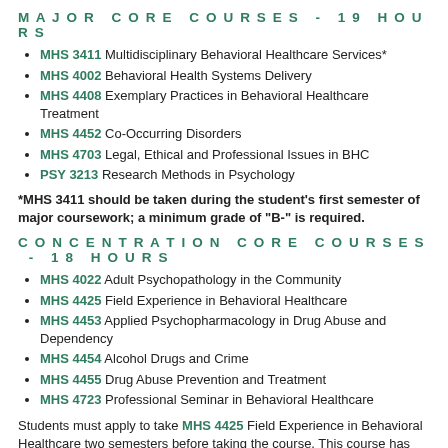MAJOR CORE COURSES - 19 HOURS
MHS 3411 Multidisciplinary Behavioral Healthcare Services*
MHS 4002 Behavioral Health Systems Delivery
MHS 4408 Exemplary Practices in Behavioral Healthcare Treatment
MHS 4452 Co-Occurring Disorders
MHS 4703 Legal, Ethical and Professional Issues in BHC
PSY 3213 Research Methods in Psychology
*MHS 3411 should be taken during the student's first semester of major coursework; a minimum grade of "B-" is required.
CONCENTRATION CORE COURSES - 18 HOURS
MHS 4022 Adult Psychopathology in the Community
MHS 4425 Field Experience in Behavioral Healthcare
MHS 4453 Applied Psychopharmacology in Drug Abuse and Dependency
MHS 4454 Alcohol Drugs and Crime
MHS 4455 Drug Abuse Prevention and Treatment
MHS 4723 Professional Seminar in Behavioral Healthcare
Students must apply to take MHS 4425 Field Experience in Behavioral Healthcare two semesters before taking the course. This course has four prerequisites: MHS 3411 with a B- or higher, MHS 4002, MHS 4723, and MHS 4408. MHS 4723, and MHS 4408 may...